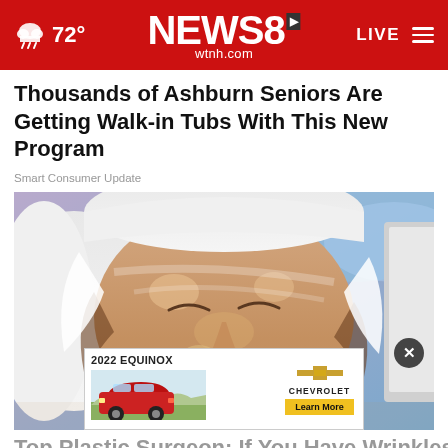72° NEWS8 wtnh.com LIVE
Thousands of Ashburn Seniors Are Getting Walk-in Tubs With This New Program
Smart Consumer Update
[Figure (photo): Close-up photo of a woman with eyes closed, wearing a white towel on her head, with a glossy/wet face, appearing to be getting a facial treatment. An advertisement overlay at the bottom shows a red 2022 Chevrolet Equinox SUV with text '2022 EQUINOX', the Chevrolet logo, and a 'Learn More' button.]
Top Plastic Surgeon: If You Have Wrinkles, Do